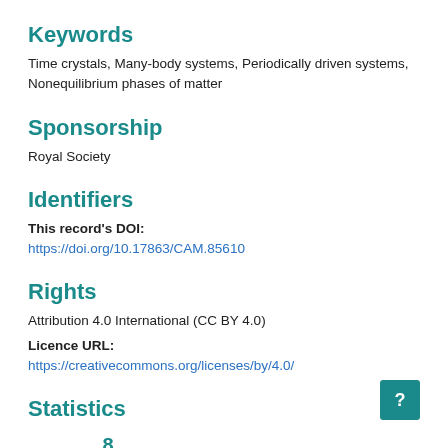Keywords
Time crystals, Many-body systems, Periodically driven systems, Nonequilibrium phases of matter
Sponsorship
Royal Society
Identifiers
This record's DOI: https://doi.org/10.17863/CAM.85610
Rights
Attribution 4.0 International (CC BY 4.0)
Licence URL: https://creativecommons.org/licenses/by/4.0/
Statistics
8
1